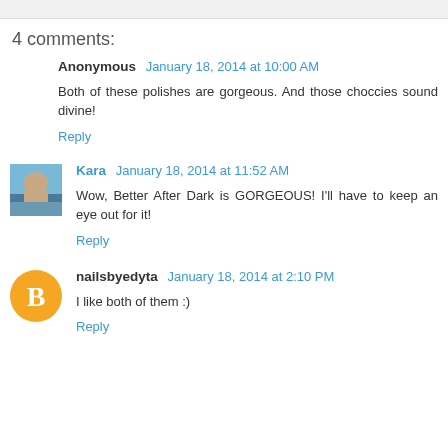4 comments:
Anonymous January 18, 2014 at 10:00 AM
Both of these polishes are gorgeous. And those choccies sound divine!
Reply
Kara January 18, 2014 at 11:52 AM
Wow, Better After Dark is GORGEOUS! I'll have to keep an eye out for it!
Reply
nailsbyedyta January 18, 2014 at 2:10 PM
I like both of them :)
Reply